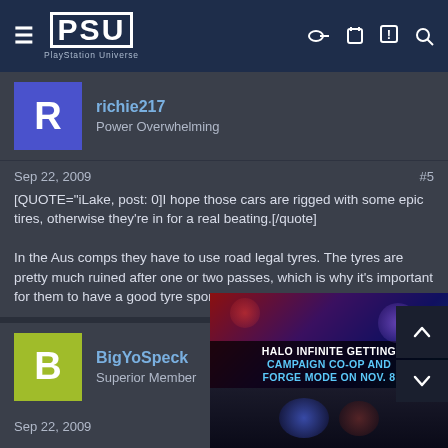PSU PlayStation Universe
richie217
Power Overwhelming
Sep 22, 2009 #5
[QUOTE="iLake, post: 0]I hope those cars are rigged with some epic tires, otherwise they're in for a real beating.[/quote]

In the Aus comps they have to use road legal tyres. The tyres are pretty much ruined after one or two passes, which is why it's important for them to have a good tyre sponsor.
BigYoSpeck
Superior Member
Sep 22, 2009
Not a fan. I don't get it really. If you're goi... should be to do so as fast as possible... precision driving stuff like Russ Swift ca...
[Figure (screenshot): Advertisement banner for Halo Infinite Campaign Co-Op and Forge Mode on Nov. 8, showing game imagery with dark sci-fi background]